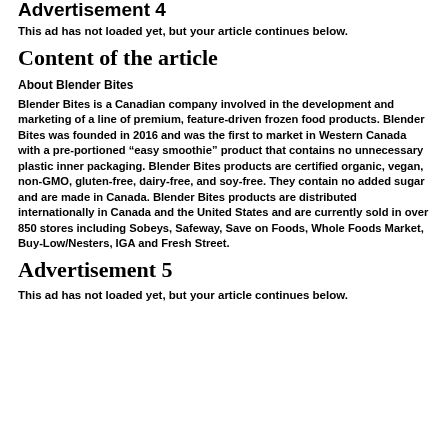Advertisement 4
This ad has not loaded yet, but your article continues below.
Content of the article
About Blender Bites
Blender Bites is a Canadian company involved in the development and marketing of a line of premium, feature-driven frozen food products. Blender Bites was founded in 2016 and was the first to market in Western Canada with a pre-portioned “easy smoothie” product that contains no unnecessary plastic inner packaging. Blender Bites products are certified organic, vegan, non-GMO, gluten-free, dairy-free, and soy-free. They contain no added sugar and are made in Canada. Blender Bites products are distributed internationally in Canada and the United States and are currently sold in over 850 stores including Sobeys, Safeway, Save on Foods, Whole Foods Market, Buy-Low/Nesters, IGA and Fresh Street.
Advertisement 5
This ad has not loaded yet, but your article continues below.